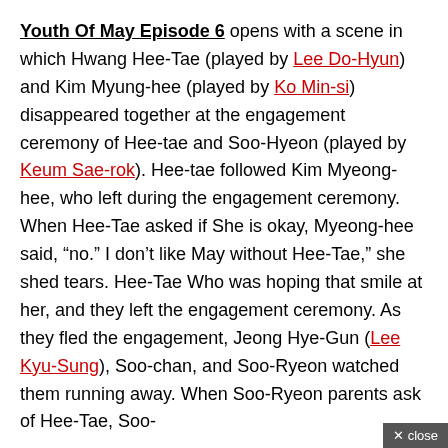Youth Of May Episode 6 opens with a scene in which Hwang Hee-Tae (played by Lee Do-Hyun) and Kim Myung-hee (played by Ko Min-si) disappeared together at the engagement ceremony of Hee-tae and Soo-Hyeon (played by Keum Sae-rok). Hee-tae followed Kim Myeong-hee, who left during the engagement ceremony. When Hee-Tae asked if She is okay, Myeong-hee said, “no.” I don’t like May without Hee-Tae,” she shed tears. Hee-Tae Who was hoping that smile at her, and they left the engagement ceremony. As they fled the engagement, Jeong Hye-Gun (Lee Kyu-Sung), Soo-chan, and Soo-Ryeon watched them running away. When Soo-Ryeon parents ask of Hee-Tae, Soo-